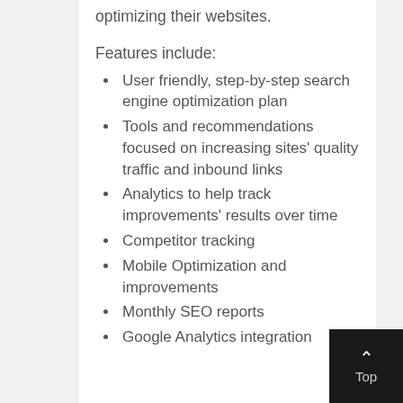optimizing their websites.
Features include:
User friendly, step-by-step search engine optimization plan
Tools and recommendations focused on increasing sites' quality traffic and inbound links
Analytics to help track improvements' results over time
Competitor tracking
Mobile Optimization and improvements
Monthly SEO reports
Google Analytics integration